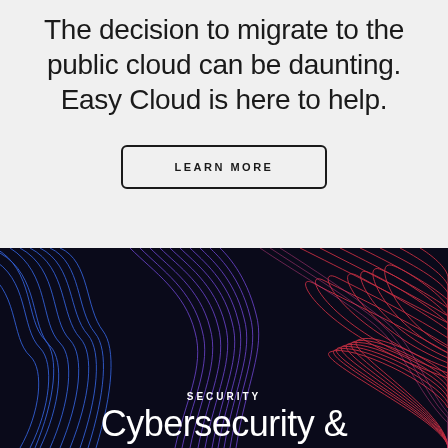The decision to migrate to the public cloud can be daunting. Easy Cloud is here to help.
LEARN MORE
[Figure (illustration): Dark background with colorful flowing wave lines in blue, purple, and red/pink colors, creating an abstract cybersecurity visual]
SECURITY
Cybersecurity &